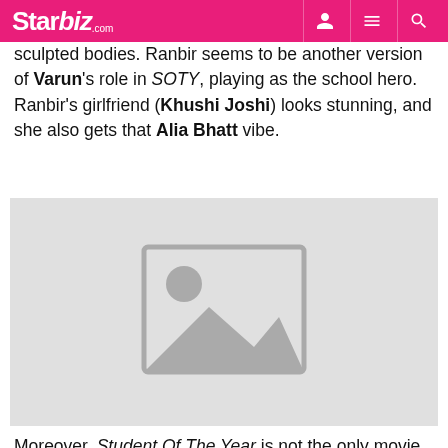Starbiz.com
sculpted bodies. Ranbir seems to be another version of Varun's role in SOTY, playing as the school hero. Ranbir's girlfriend (Khushi Joshi) looks stunning, and she also gets that Alia Bhatt vibe.
[Figure (photo): Placeholder image with generic landscape/photo icon on grey background]
Moreover, Student Of The Year is not the only movie from which Puncch Beat takes inspiration. There is a scene of a guy running naked around the campus which will remind you of American Pie. It will also